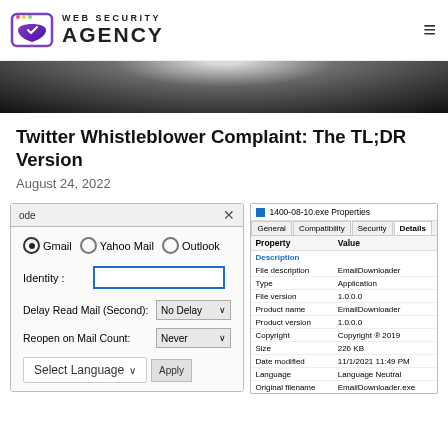[Figure (logo): Web Security Agency logo with shield icon and text]
[Figure (photo): Dark background hero image]
Twitter Whistleblower Complaint: The TL;DR Version
August 24, 2022
[Figure (screenshot): Two screenshots: left shows an email configuration dialog (Gmail/Yahoo Mail/Outlook selector, Identity field, Delay Read Mail dropdown set to No Delay, Reopen on Mail Count set to Never, Select Language dropdown), right shows Windows file Properties dialog for 1400-08-10.exe with Details tab showing file description EmailDownloader, Type Application, File version 1.0.0.0, Product name EmailDownloader, Product version 1.0.0.0, Copyright 2019, Size 226 KB, Date modified 11/1/2021 11:49 PM, Language Language Neutral, Original filename EmailDownloader.exe]